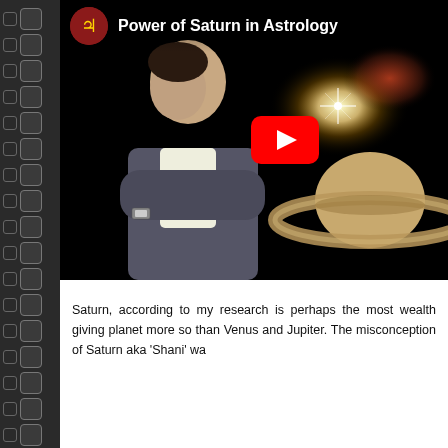[Figure (screenshot): YouTube video thumbnail for 'Power of Saturn in Astrology' showing a man with arms crossed against a dark background with an image of Saturn planet and a bright star/light. A red YouTube play button is visible in the center.]
Saturn, according to my research is perhaps the most wealth giving planet more so than Venus and Jupiter. The misconception of Saturn aka 'Shani' wa...